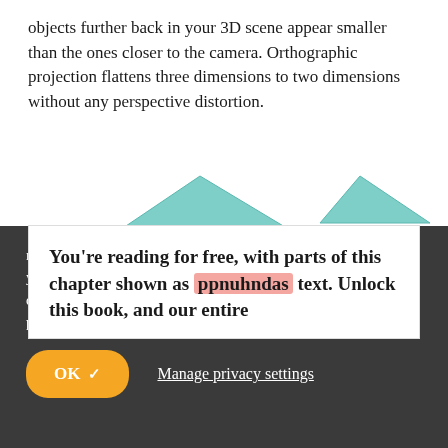objects further back in your 3D scene appear smaller than the ones closer to the camera. Orthographic projection flattens three dimensions to two dimensions without any perspective distortion.
[Figure (illustration): Two cyan/teal triangles representing 3D perspective and orthographic projection illustrations, partially visible]
You're reading for free, with parts of this chapter shown as ppnuhndas text. Unlock this book, and our entire
raywenderlich.com and our partners use cookies to understand how you use our site and to serve you personalized content and ads. By continuing to use this site, you accept these cookies, our privacy policy and terms of service .
OK ✓
Manage privacy settings